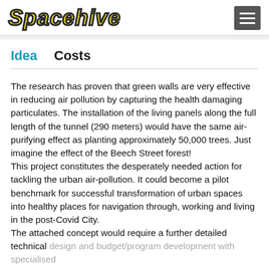Spacehive
Idea    Costs
The research has proven that green walls are very effective in reducing air pollution by capturing the health damaging particulates. The installation of the living panels along the full length of the tunnel (290 meters) would have the same air-purifying effect as planting approximately 50,000 trees. Just imagine the effect of the Beech Street forest!
This project constitutes the desperately needed action for tackling the urban air-pollution. It could become a pilot benchmark for successful transformation of urban spaces into healthy places for navigation through, working and living in the post-Covid City.
The attached concept would require a further detailed technical design and budget/program development with specialised